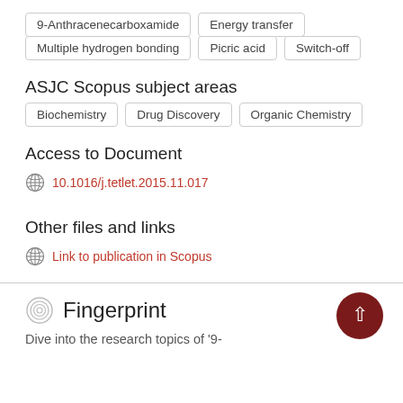9-Anthracenecarboxamide
Energy transfer
Multiple hydrogen bonding
Picric acid
Switch-off
ASJC Scopus subject areas
Biochemistry
Drug Discovery
Organic Chemistry
Access to Document
10.1016/j.tetlet.2015.11.017
Other files and links
Link to publication in Scopus
Fingerprint
Dive into the research topics of '9-